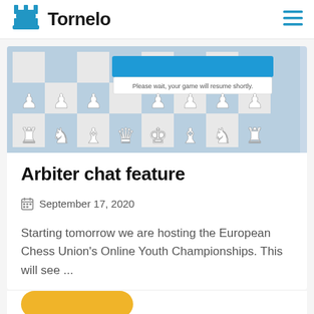Tornelo
[Figure (screenshot): Screenshot of a chess board interface with pieces arranged and a dialog box saying 'Please wait, your game will resume shortly.']
Arbiter chat feature
September 17, 2020
Starting tomorrow we are hosting the European Chess Union's Online Youth Championships. This will see ...